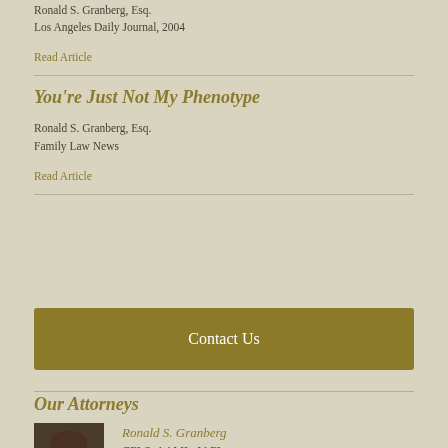Ronald S. Granberg, Esq.
Los Angeles Daily Journal, 2004
Read Article
You're Just Not My Phenotype
Ronald S. Granberg, Esq.
Family Law News
Read Article
Contact Us
Our Attorneys
[Figure (photo): Portrait photo of Ronald S. Granberg, a middle-aged man in professional attire, smiling]
Ronald S. Granberg
CFLS, AAML, IAFL
Tel: 831.423.6565